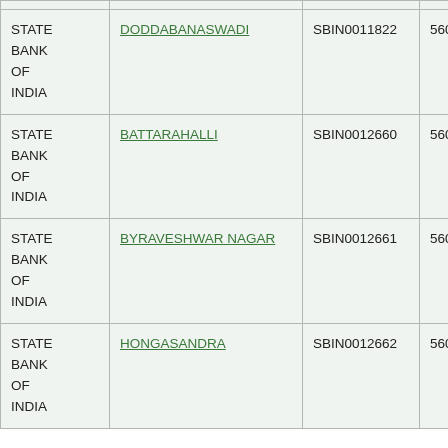| Bank Name | Branch | IFSC | MICR |
| --- | --- | --- | --- |
| STATE BANK OF INDIA | DODDABANASWADI | SBIN0011822 | 560002145 |
| STATE BANK OF INDIA | BATTARAHALLI | SBIN0012660 | 560002146 |
| STATE BANK OF INDIA | BYRAVESHWAR NAGAR | SBIN0012661 | 560002147 |
| STATE BANK OF INDIA | HONGASANDRA | SBIN0012662 | 560002148 |